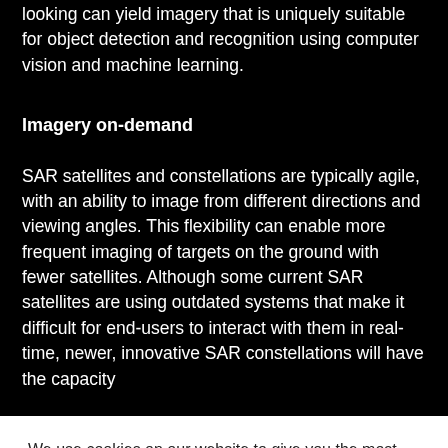looking can yield imagery that is uniquely suitable for object detection and recognition using computer vision and machine learning.
Imagery on-demand
SAR satellites and constellations are typically agile, with an ability to image from different directions and viewing angles. This flexibility can enable more frequent imaging of targets on the ground with fewer satellites. Although some current SAR satellites are using outdated systems that make it difficult for end-users to interact with them in real-time, newer, innovative SAR constellations will have the capacity
We use cookies on our website to give you the most relevant experience by remembering your preferences and repeat visits. By clicking “Accept”, you consent to the use of ALL the cookies.
Cookie settings | ACCEPT